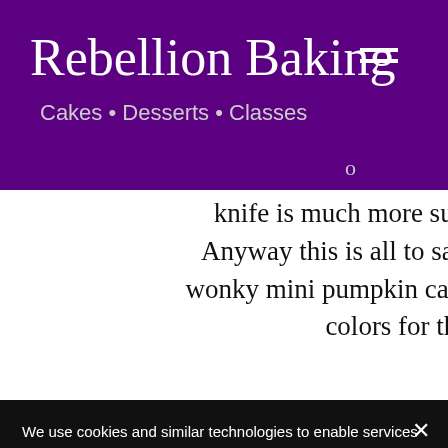Rebellion Baking
Cakes • Desserts • Classes
knife is much more suitable for the job. Anyway this is all to say that I made some wonky mini pumpkin cakes covered in funky colors for this class
We use cookies and similar technologies to enable services and functionality on our site and to understand your interaction with our service. By clicking on accept, you agree to our use of such technologies for marketing and analytics. See Privacy Policy